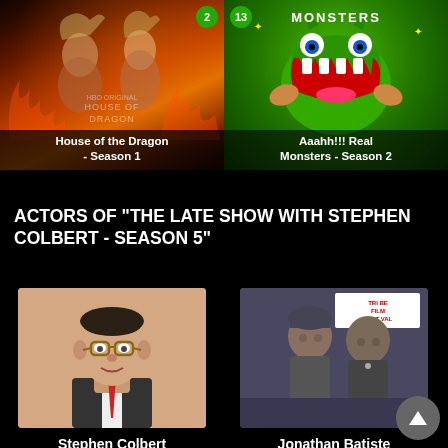[Figure (photo): Movie/TV show poster for House of the Dragon - Season 1, dark fiery tones with characters]
House of the Dragon - Season 1
[Figure (photo): TV show poster for Aaahh!!! Real Monsters - Season 2, green cartoon background with monster characters]
Aaahh!!! Real Monsters - Season 2
ACTORS OF "THE LATE SHOW WITH STEPHEN COLBERT - SEASON 5"
[Figure (photo): Photo of Stephen Colbert, a man with glasses and a suit]
Stephen Colbert
13 May 1964, Washington, District of Columbia, USA
[Figure (photo): Photo of Jonathan Batiste at the Tribeca Film Festival, two men in casual clothing]
Jonathan Batiste
11 November 1986, Louisiana